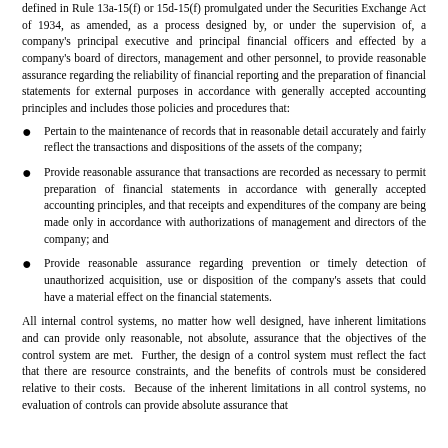defined in Rule 13a-15(f) or 15d-15(f) promulgated under the Securities Exchange Act of 1934, as amended, as a process designed by, or under the supervision of, a company's principal executive and principal financial officers and effected by a company's board of directors, management and other personnel, to provide reasonable assurance regarding the reliability of financial reporting and the preparation of financial statements for external purposes in accordance with generally accepted accounting principles and includes those policies and procedures that:
Pertain to the maintenance of records that in reasonable detail accurately and fairly reflect the transactions and dispositions of the assets of the company;
Provide reasonable assurance that transactions are recorded as necessary to permit preparation of financial statements in accordance with generally accepted accounting principles, and that receipts and expenditures of the company are being made only in accordance with authorizations of management and directors of the company; and
Provide reasonable assurance regarding prevention or timely detection of unauthorized acquisition, use or disposition of the company's assets that could have a material effect on the financial statements.
All internal control systems, no matter how well designed, have inherent limitations and can provide only reasonable, not absolute, assurance that the objectives of the control system are met.  Further, the design of a control system must reflect the fact that there are resource constraints, and the benefits of controls must be considered relative to their costs.  Because of the inherent limitations in all control systems, no evaluation of controls can provide absolute assurance that